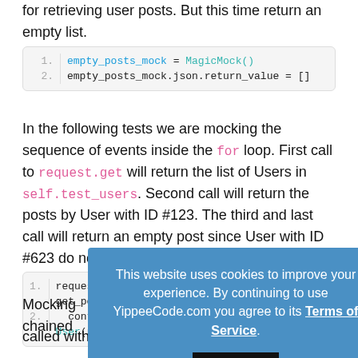for retrieving user posts. But this time return an empty list.
empty_posts_mock = MagicMock()
empty_posts_mock.json.return_value = []
In the following tests we are mocking the sequence of events inside the for loop. First call to request.get will return the list of Users in self.test_users. Second call will return the posts by User with ID #123. The third and last call will return an empty post since User with ID #623 do not have any posts.
requests_mock.get.side_effect = [get_users_mock, get_posts_mock, contribute... User(url=...
Mocking chained... static data that g... call function de... called with a given set of parameters.
This website uses cookies to improve your experience. By continuing to use YippeeCode.com you agree to its Terms of Service.
ACCEPT